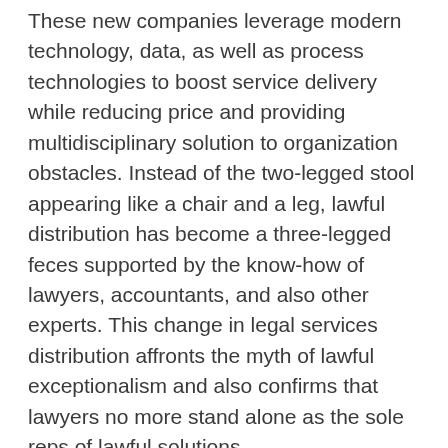These new companies leverage modern technology, data, as well as process technologies to boost service delivery while reducing price and providing multidisciplinary solution to organization obstacles. Instead of the two-legged stool appearing like a chair and a leg, lawful distribution has become a three-legged feces supported by the know-how of lawyers, accountants, and also other experts. This change in legal services distribution affronts the myth of lawful exceptionalism and also confirms that lawyers no more stand alone as the sole reps of lawful solutions.
Small businesses can take advantage of lawful solutions too. In many cases, small business owners have to encounter numerous legal obstacles, needing the assistance of an attorney. Lawful solutions can safeguard personal possessions from legal actions, offer responsibility security, protect against